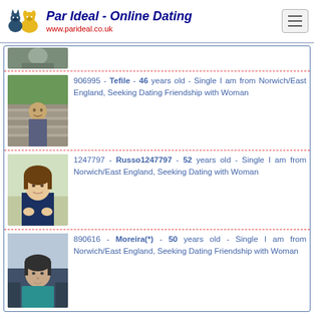Par Ideal - Online Dating www.parideal.co.uk
[Figure (photo): Partially visible profile photo at top, cropped]
906995 - Tefile - 46 years old - Single I am from Norwich/East England, Seeking Dating Friendship with Woman
[Figure (photo): Profile photo of person outdoors near stone wall]
1247797 - Russo1247797 - 52 years old - Single I am from Norwich/East England, Seeking Dating with Woman
[Figure (photo): Profile photo of woman with brown hair in blue top]
890616 - Moreira(*) - 50 years old - Single I am from Norwich/East England, Seeking Dating Friendship with Woman
[Figure (photo): Profile photo of man in teal shirt in car]
❤ Online dating site from West Midlands, United Kingdom  ❤ Divorced woman from Norwich  ❤ Seeking women from United Kingdom  ❤ Meet